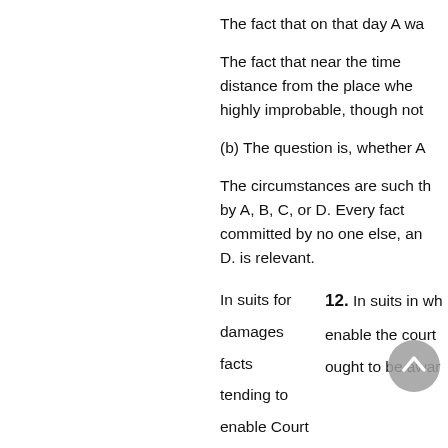The fact that on that day A wa
The fact that near the time distance from the place whe highly improbable, though not
(b) The question is, whether A
The circumstances are such th by A, B, C, or D. Every fact committed by no one else, an D. is relevant.
In suits for damages facts tending to enable Court to determine   12. In suits in wh enable the court ought to be awar